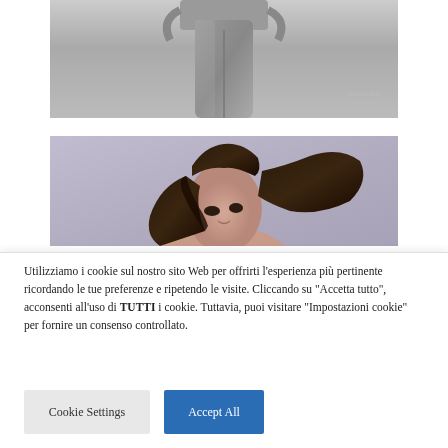[Figure (photo): Black and white photo showing lower torso and legs in jeans, with a small watermark in the bottom right corner]
[Figure (photo): Color photo of a woman with dark hair partially obscuring her face against a purple-gray background]
Utilizziamo i cookie sul nostro sito Web per offrirti l'esperienza più pertinente ricordando le tue preferenze e ripetendo le visite. Cliccando su "Accetta tutto", acconsenti all'uso di TUTTI i cookie. Tuttavia, puoi visitare "Impostazioni cookie" per fornire un consenso controllato.